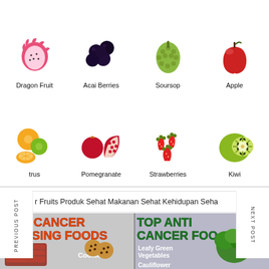[Figure (infographic): Grid of anti-cancer fruits: Dragon Fruit, Acai Berries, Soursop, Apple (top row); Citrus, Pomegranate, Strawberries, Kiwi (bottom row)]
r Fruits Produk Sehat Makanan Sehat Kehidupan Seha
PREVIOUS POST
NEXT POST
[Figure (infographic): Split infographic: Left side 'TOP CANCER CAUSING FOODS' showing Processed meats, Cookies, fries, hot dogs. Right side 'TOP ANTI CANCER FOODS' showing Leafy Green Vegetables, Cauliflower, Turmeric]